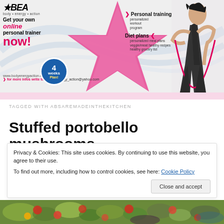[Figure (infographic): BEA Body Energy Action advertisement banner with pink star, fitness model, personal training and diet plan services, 4 weeks plan badge]
TAGGED WITH ABSAREMADEINTHEKITCHEN
Stuffed portobello mushrooms
Privacy & Cookies: This site uses cookies. By continuing to use this website, you agree to their use.
To find out more, including how to control cookies, see here: Cookie Policy
[Figure (photo): Bottom strip showing salad/food photograph]